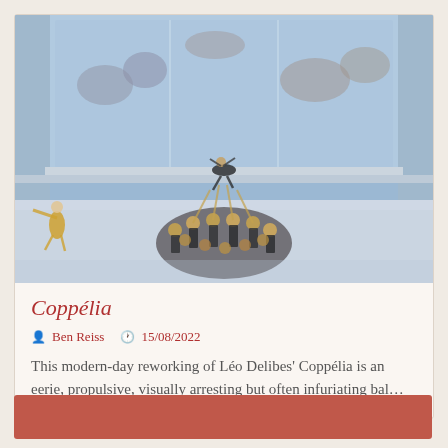[Figure (photo): A ballet performance photo showing dancers on a modern stage with blue/white lighting. A group of dancers in dark and gold costumes form a cluster in the center, with one dancer being lifted high above. Background shows additional performers and a large glass or screen backdrop with more dancers visible. One dancer in yellow is visible on the far left.]
Coppélia
Ben Reiss  15/08/2022
This modern-day reworking of Léo Delibes' Coppélia is an eerie, propulsive, visually arresting but often infuriating bal…